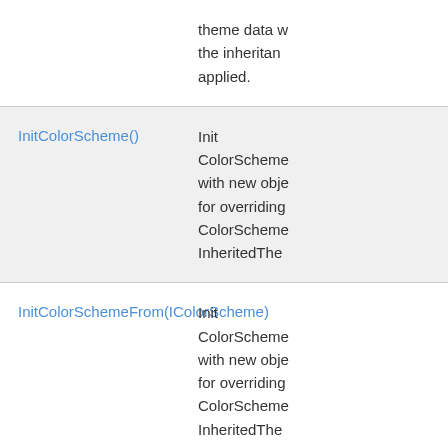theme data w the inheritan applied.
| Method | Description |
| --- | --- |
| InitColorScheme() | Init ColorScheme with new obje for overriding ColorScheme InheritedThe |
| InitColorSchemeFrom(IColorScheme) | Init ColorScheme with new obje for overriding ColorScheme InheritedThe |
| InitColorSchemeFromInherited() | Init |